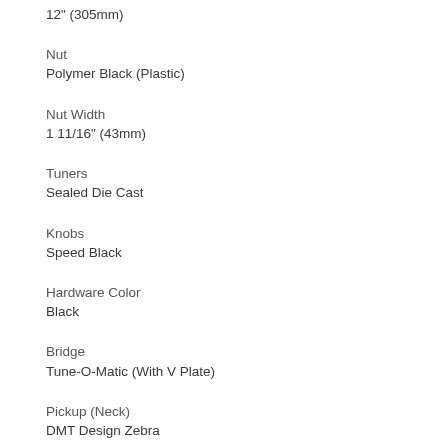12" (305mm)
Nut
Polymer Black (Plastic)
Nut Width
1 11/16" (43mm)
Tuners
Sealed Die Cast
Knobs
Speed Black
Hardware Color
Black
Bridge
Tune-O-Matic (With V Plate)
Pickup (Neck)
DMT Design Zebra